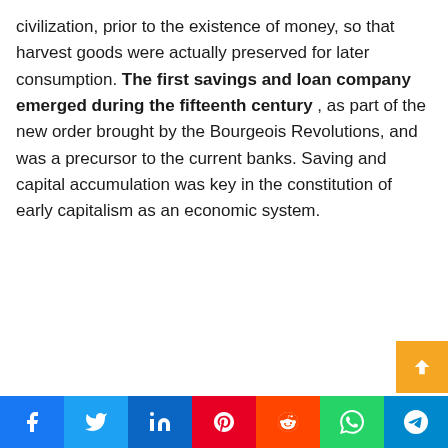civilization, prior to the existence of money, so that harvest goods were actually preserved for later consumption. The first savings and loan company emerged during the fifteenth century , as part of the new order brought by the Bourgeois Revolutions, and was a precursor to the current banks. Saving and capital accumulation was key in the constitution of early capitalism as an economic system.